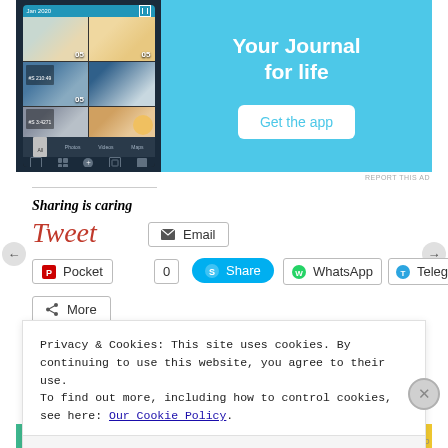[Figure (screenshot): App advertisement banner showing a mobile journal app with photo grid on the left and 'Your Journal for life' text with 'Get the app' button on a blue background on the right.]
REPORT THIS AD
Sharing is caring
Tweet
Email
Pocket 0
Share
WhatsApp
Telegram
More
Privacy & Cookies: This site uses cookies. By continuing to use this website, you agree to their use.
To find out more, including how to control cookies, see here: Our Cookie Policy.
Close and accept